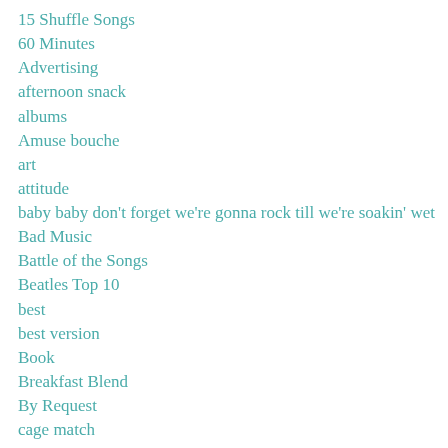15 Shuffle Songs
60 Minutes
Advertising
afternoon snack
albums
Amuse bouche
art
attitude
baby baby don't forget we're gonna rock till we're soakin' wet
Bad Music
Battle of the Songs
Beatles Top 10
best
best version
Book
Breakfast Blend
By Request
cage match
CarTunes
charts
classic nugggets
Classic Rock
Concert Pl...